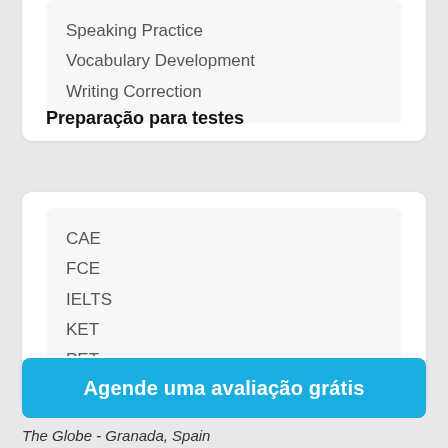Speaking Practice
Vocabulary Development
Writing Correction
Preparação para testes
CAE
FCE
IELTS
KET
PET
Currículo
Agende uma avaliação grátis
The Globe - Granada, Spain